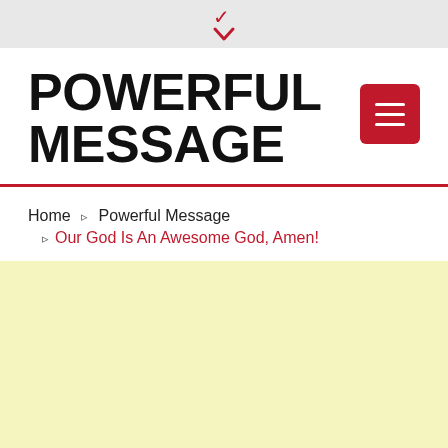▾
POWERFUL MESSAGE
Home › Powerful Message › Our God Is An Awesome God, Amen!
[Figure (other): Light yellow content area background block]